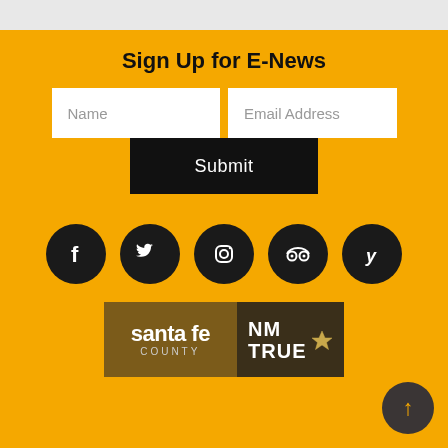Sign Up for E-News
Name
Email Address
Submit
[Figure (infographic): Row of 5 black circular social media icons: Facebook, Twitter, Instagram, TripAdvisor, Yelp]
[Figure (logo): Santa Fe County logo with NM TRUE badge]
[Figure (other): Back to top button with upward arrow]